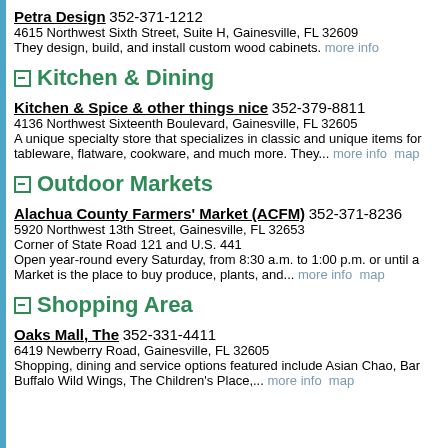Petra Design 352-371-1212
4615 Northwest Sixth Street, Suite H, Gainesville, FL 32609
They design, build, and install custom wood cabinets. more info
Kitchen & Dining
Kitchen & Spice & other things nice 352-379-8811
4136 Northwest Sixteenth Boulevard, Gainesville, FL 32605
A unique specialty store that specializes in classic and unique items for tablewares, flatware, cookware, and much more. They... more info map
Outdoor Markets
Alachua County Farmers' Market (ACFM) 352-371-8236
5920 Northwest 13th Street, Gainesville, FL 32653
Corner of State Road 121 and U.S. 441
Open year-round every Saturday, from 8:30 a.m. to 1:00 p.m. or until a... Market is the place to buy produce, plants, and... more info map
Shopping Area
Oaks Mall, The 352-331-4411
6419 Newberry Road, Gainesville, FL 32605
Shopping, dining and service options featured include Asian Chao, Bar... Buffalo Wild Wings, The Children's Place,... more info map